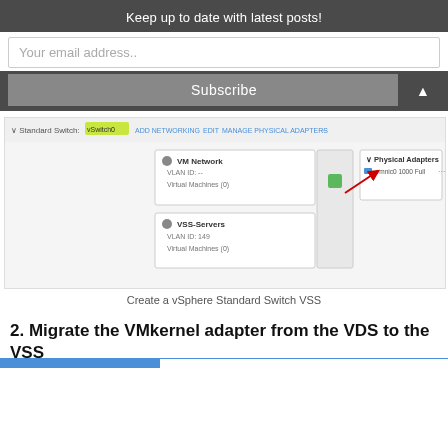Keep up to date with latest posts!
Your email address..
Subscribe
[Figure (screenshot): vSphere Standard Switch VSS interface showing VM Network and VSS-Servers port groups with Physical Adapters panel]
Create a vSphere Standard Switch VSS
2. Migrate the VMkernel adapter from the VDS to the VSS